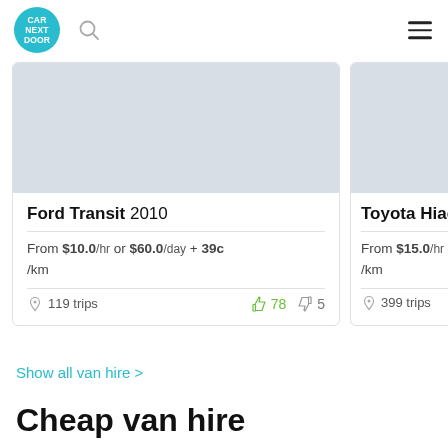[Figure (logo): Car Next Door logo — teal circle with white text CAR NEXT DOOR]
[Figure (screenshot): Car listing card: Ford Transit 2010, From $10.0/hr or $60.0/day + 39c/km, 119 trips, 78 thumbs up, 5 thumbs down]
[Figure (screenshot): Partially visible car listing card: Toyota Hiace, From $15.0/hr, 399 trips]
Show all van hire >
Cheap van hire